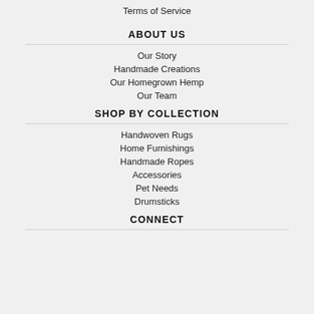Terms of Service
ABOUT US
Our Story
Handmade Creations
Our Homegrown Hemp
Our Team
SHOP BY COLLECTION
Handwoven Rugs
Home Furnishings
Handmade Ropes
Accessories
Pet Needs
Drumsticks
CONNECT